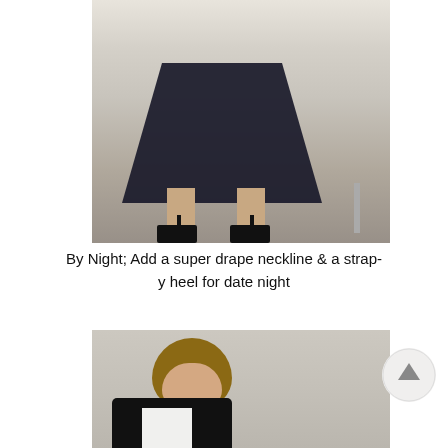[Figure (photo): Fashion photo showing lower body of a model wearing a black pleated midi skirt and black strappy high heels, standing in front of a white backdrop with a stool visible in the background]
By Night; Add a super drape neckline & a strappy heel for date night
[Figure (photo): Fashion photo showing upper body of a female model with brown bangs wearing a black jacket over a white t-shirt, photographed against a light textured background]